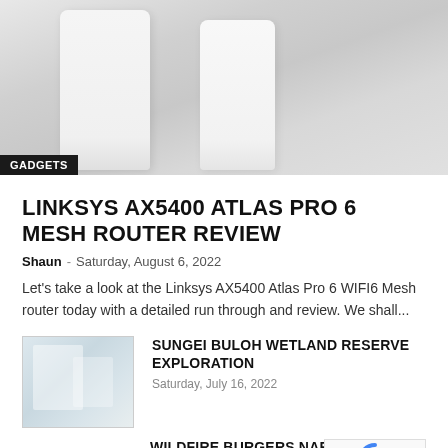[Figure (photo): Hero image of Linksys mesh router units on a surface, light grey background]
GADGETS
LINKSYS AX5400 ATLAS PRO 6 MESH ROUTER REVIEW
Shaun - Saturday, August 6, 2022
Let's take a look at the Linksys AX5400 Atlas Pro 6 WIFI6 Mesh router today with a detailed run through and review. We shall...
[Figure (photo): Thumbnail image of Sungei Buloh Wetland Reserve]
SUNGEI BULOH WETLAND RESERVE EXPLORATION
Saturday, July 16, 2022
WILDFIRE BURGERS NAFA GOURMET BURGERS
Sunday, July 10, 2022